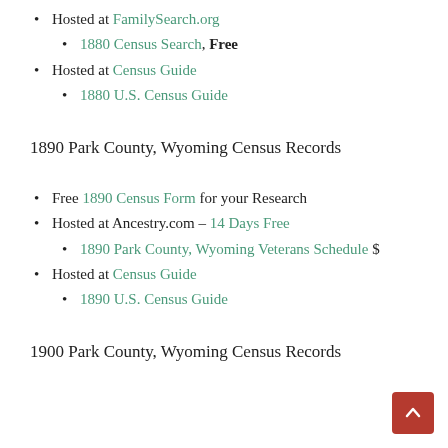Hosted at FamilySearch.org
1880 Census Search, Free
Hosted at Census Guide
1880 U.S. Census Guide
1890 Park County, Wyoming Census Records
Free 1890 Census Form for your Research
Hosted at Ancestry.com – 14 Days Free
1890 Park County, Wyoming Veterans Schedule $
Hosted at Census Guide
1890 U.S. Census Guide
1900 Park County, Wyoming Census Records